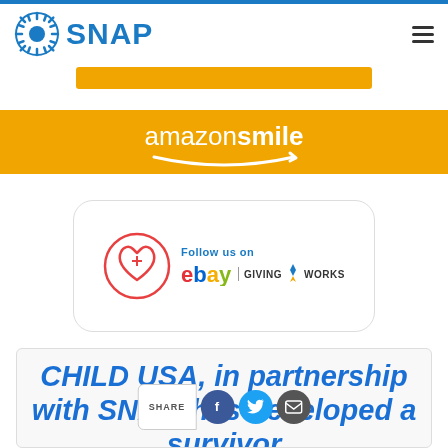[Figure (logo): SNAP organization logo with sun/wheel icon and SNAP text in blue, with hamburger menu icon on right]
[Figure (logo): AmazonSmile orange banner with white amazonsmile text and smile arrow logo]
[Figure (logo): eBay Giving Works badge with heart+cross circle icon, 'Follow us on' text and eBay Giving Works logo]
CHILD USA, in partnership with SNAP, has developed a survivor